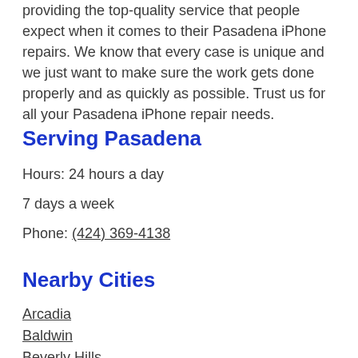providing the top-quality service that people expect when it comes to their Pasadena iPhone repairs. We know that every case is unique and we just want to make sure the work gets done properly and as quickly as possible. Trust us for all your Pasadena iPhone repair needs.
Serving Pasadena
Hours: 24 hours a day
7 days a week
Phone: (424) 369-4138
Nearby Cities
Arcadia
Baldwin
Beverly Hills